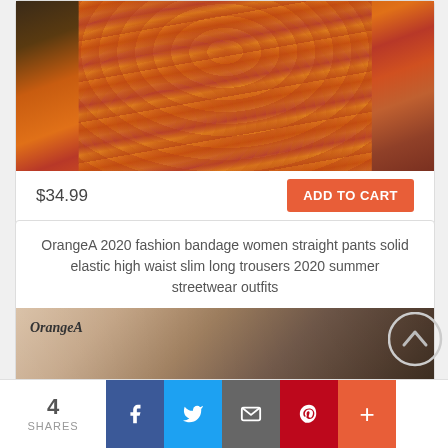[Figure (photo): Product photo of orange/red floral print wide-leg pants on a model, cropped to show lower body]
$34.99
ADD TO CART
Add to Wish List
Add to Compare
OrangeA 2020 fashion bandage women straight pants solid elastic high waist slim long trousers 2020 summer streetwear outfits
[Figure (photo): Product photo showing a woman wearing a black outfit, OrangeA brand label visible in top-left corner]
4 SHARES
f  (Facebook share button)
Twitter share button
Email share button
Pinterest share button
+ (More share button)